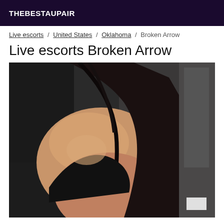THEBESTAUPAIR
Live escorts / United States / Oklahoma / Broken Arrow
Live escorts Broken Arrow
[Figure (photo): Close-up photo of a person with dark hair, showing upper body/chest area against a dark background]